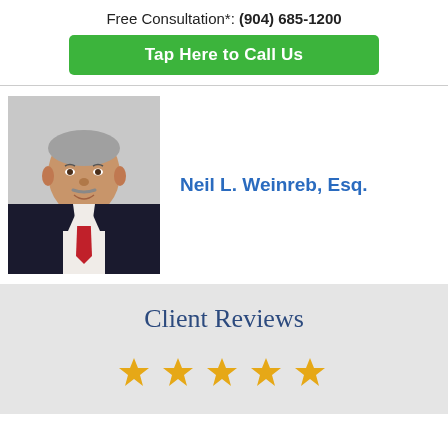Free Consultation*: (904) 685-1200
Tap Here to Call Us
[Figure (photo): Professional headshot of attorney Neil L. Weinreb, Esq., an older man in a dark suit with a red tie, smiling against a light background.]
Neil L. Weinreb, Esq.
Client Reviews
[Figure (infographic): Five gold star rating icons displayed in a row]